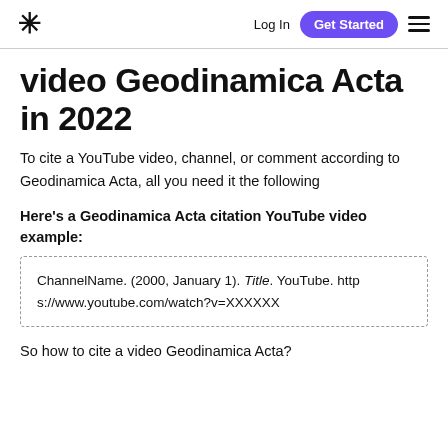* Log In Get Started ☰
video Geodinamica Acta in 2022
To cite a YouTube video, channel, or comment according to Geodinamica Acta, all you need it the following
Here's a Geodinamica Acta citation YouTube video example:
ChannelName. (2000, January 1). Title. YouTube. https://www.youtube.com/watch?v=XXXXXX
So how to cite a video Geodinamica Acta?